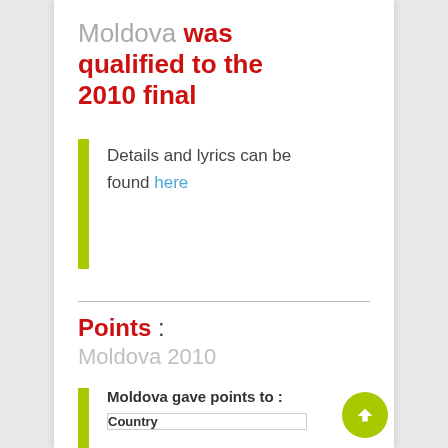Moldova was qualified to the 2010 final
Details and lyrics can be found here
Points : Moldova 2010
Moldova gave points to :
| Country |
| --- |